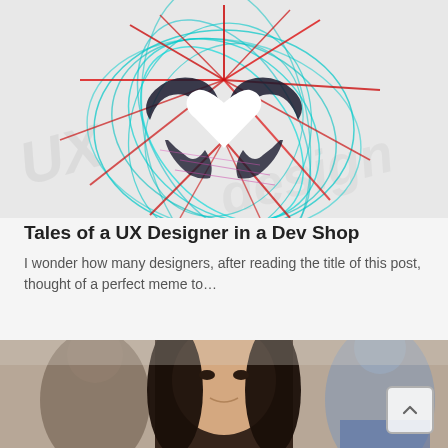[Figure (illustration): Abstract illustration of two hands forming a heart shape at the top, with colorful scribbled lines in teal, red, and black swirling around the hands against a light gray background.]
Tales of a UX Designer in a Dev Shop
I wonder how many designers, after reading the title of this post, thought of a perfect meme to…
[Figure (photo): Photo of a young woman with long dark hair looking slightly upward, partially in focus, with blurred figures in the background in what appears to be an office or public setting.]